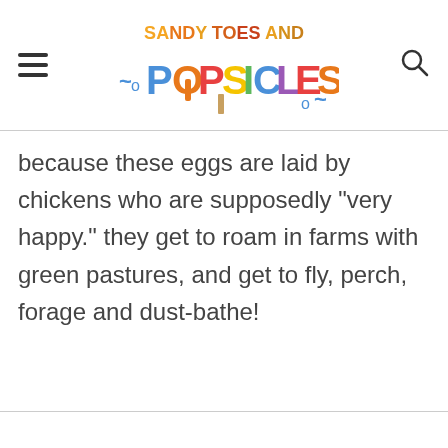SANDY TOES AND POPSICLES
because these eggs are laid by chickens who are supposedly "very happy." they get to roam in farms with green pastures, and get to fly, perch, forage and dust-bathe!